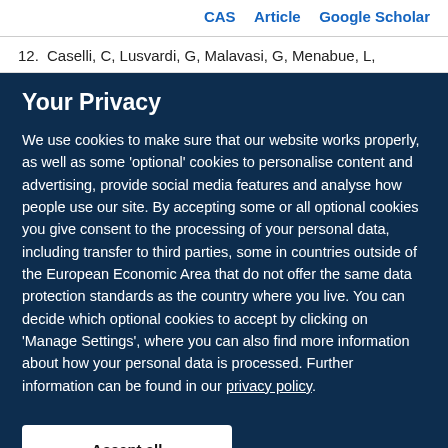CAS   Article   Google Scholar
12. Caselli, C, Lusvardi, G, Malavasi, G, Menabue, L,
Your Privacy
We use cookies to make sure that our website works properly, as well as some 'optional' cookies to personalise content and advertising, provide social media features and analyse how people use our site. By accepting some or all optional cookies you give consent to the processing of your personal data, including transfer to third parties, some in countries outside of the European Economic Area that do not offer the same data protection standards as the country where you live. You can decide which optional cookies to accept by clicking on 'Manage Settings', where you can also find more information about how your personal data is processed. Further information can be found in our privacy policy.
Accept all cookies
Manage preferences